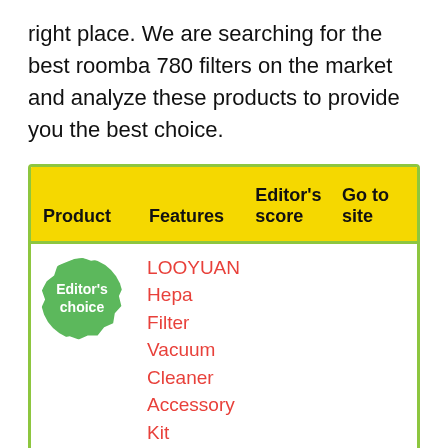right place. We are searching for the best roomba 780 filters on the market and analyze these products to provide you the best choice.
| Product | Features | Editor's score | Go to site |
| --- | --- | --- | --- |
| [Editor's choice badge] | LOOYUAN Hepa Filter Vacuum Cleaner Accessory Kit Replacemer... |  |  |